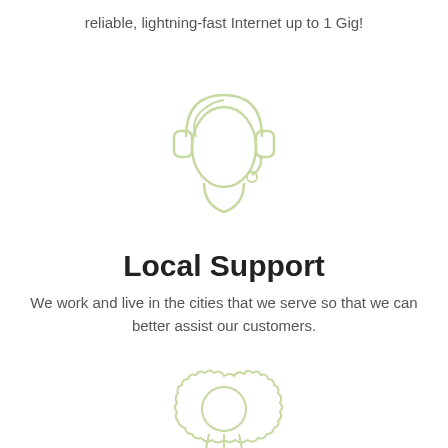reliable, lightning-fast Internet up to 1 Gig!
[Figure (illustration): Light green outline illustration of a customer support person wearing a headset]
Local Support
We work and live in the cities that we serve so that we can better assist our customers.
[Figure (illustration): Light green outline illustration of an award ribbon/medal badge]